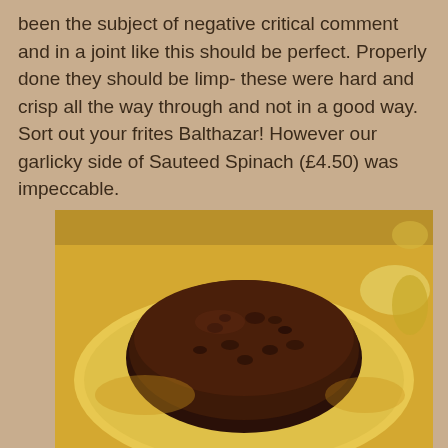been the subject of negative critical comment and in a joint like this should be perfect. Properly done they should be limp- these were hard and crisp all the way through and not in a good way. Sort out your frites Balthazar! However our garlicky side of Sauteed Spinach (£4.50) was impeccable.
[Figure (photo): A dark chocolate dessert (appears to be a chocolate mousse cake or similar) dusted with cocoa powder, served on a pale yellow/cream plate. Warm ambient restaurant lighting gives the photo a golden tone.]